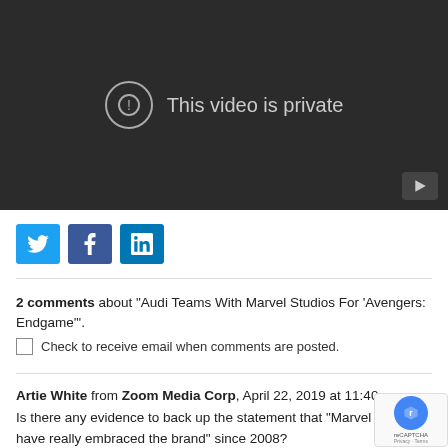[Figure (screenshot): A dark video player showing 'This video is private' message with an exclamation mark circle icon and a play button in the lower right corner.]
[Figure (infographic): Three social media share buttons: Twitter (blue bird icon), Facebook (blue f icon), LinkedIn (blue 'in' icon)]
2 comments about "Audi Teams With Marvel Studios For 'Avengers: Endgame'".
Check to receive email when comments are posted.
Artie White from Zoom Media Corp, April 22, 2019 at 11:40 a.m. Is there any evidence to back up the statement that "Marvel fans have really embraced the brand" since 2008?